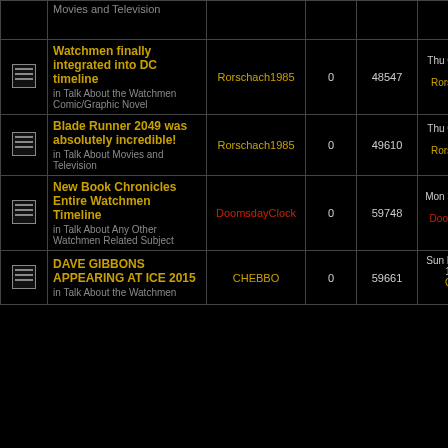|  | Topic | Author | Replies | Views | Last Post |
| --- | --- | --- | --- | --- | --- |
| [icon] | Movies and Television |  |  |  |  |
| [icon] | Watchmen finally integrated into DC timeline
in Talk About the Watchmen Comic/Graphic Novel | Rorschach1985 | 0 | 48547 | Thu Oct 26, 2017 3:49 pm
Rorschach1985 |
| [icon] | Blade Runner 2049 was absolutely incredible!
in Talk About Movies and Television | Rorschach1985 | 0 | 49610 | Thu Oct 26, 2017 3:45 pm
Rorschach1985 |
| [icon] | New Book Chronicles Entire Watchmen Timeline
in Talk About Any Other Watchmen Related Subject | DoomsdayClock | 0 | 59748 | Mon Sep 19, 2016 1:57 pm
DoomsdayClock |
| [icon] | DAVE GIBBONS APPEARING AT ICE 2015
in Talk About the Watchmen | CHEBBO | 0 | 59661 | Sun Feb 01, 2015 11:05 am
CHEBBO |